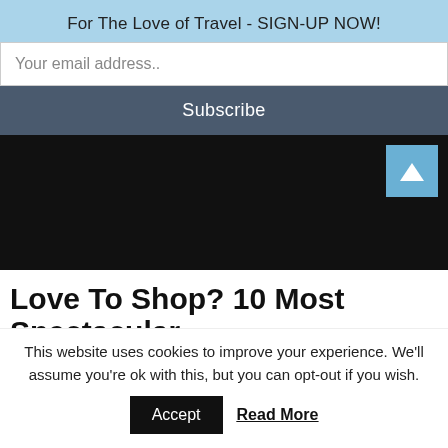For The Love of Travel - SIGN-UP NOW!
Your email address..
Subscribe
[Figure (screenshot): Dark section with scroll-to-top button (triangle icon) on light blue background in top right corner]
Love To Shop? 10 Most Spectacular
This website uses cookies to improve your experience. We'll assume you're ok with this, but you can opt-out if you wish.
Accept
Read More